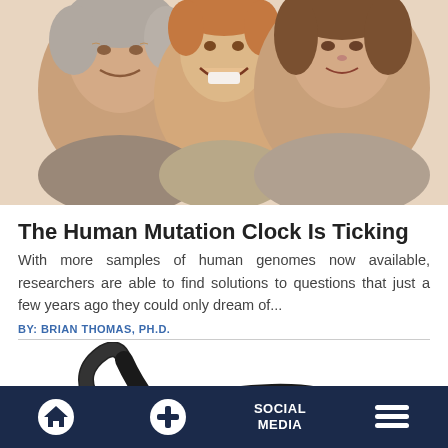[Figure (photo): Three generations smiling together: an older woman, a laughing young child, and a younger woman, all with light skin and brown/reddish hair, on a white background.]
The Human Mutation Clock Is Ticking
With more samples of human genomes now available, researchers are able to find solutions to questions that just a few years ago they could only dream of...
BY: BRIAN THOMAS, PH.D.
[Figure (photo): A fire salamander (black with orange/yellow spots) on a white background.]
Home | + | SOCIAL MEDIA | Menu